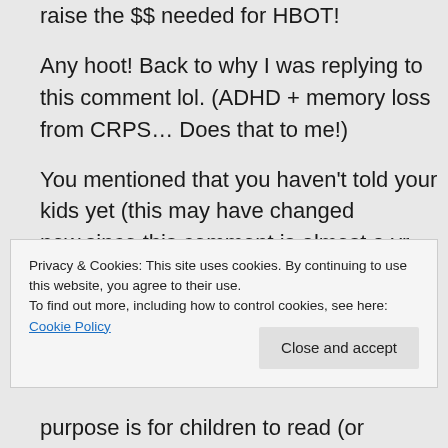raise the $$ needed for HBOT!

Any hoot! Back to why I was replying to this comment lol. (ADHD + memory loss from CRPS… Does that to me!)

You mentioned that you haven't told your kids yet (this may have changed now,since this comment is almost a yr old) but I actually use
Privacy & Cookies: This site uses cookies. By continuing to use this website, you agree to their use.
To find out more, including how to control cookies, see here: Cookie Policy
purpose is for children to read (or